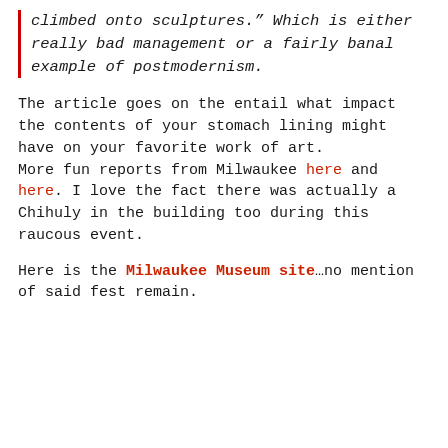climbed onto sculptures." Which is either really bad management or a fairly banal example of postmodernism.
The article goes on the entail what impact the contents of your stomach lining might have on your favorite work of art.
More fun reports from Milwaukee here and here. I love the fact there was actually a Chihuly in the building too during this raucous event.
Here is the Milwaukee Museum site…no mention of said fest remain.